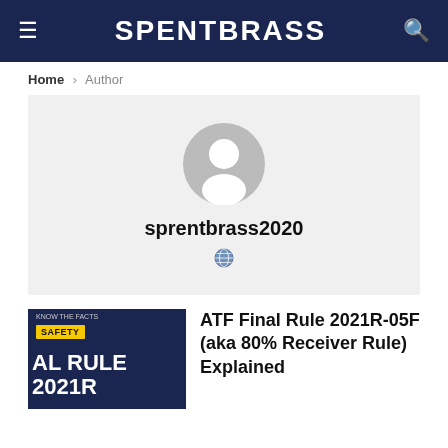SPENTBRASS
Home > Author
[Figure (illustration): Author profile card with a generic gray avatar silhouette, username 'sprentbrass2020', and a globe icon below on a light gray background]
[Figure (photo): Article thumbnail with dark navy background, SAFETY tag badge, and partial text 'AL RULE 2021R']
ATF Final Rule 2021R-05F (aka 80% Receiver Rule) Explained